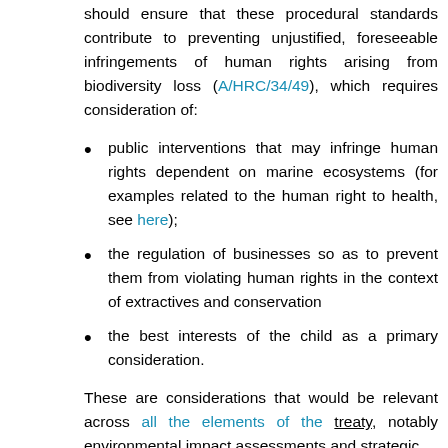should ensure that these procedural standards contribute to preventing unjustified, foreseeable infringements of human rights arising from biodiversity loss (A/HRC/34/49), which requires consideration of:
public interventions that may infringe human rights dependent on marine ecosystems (for examples related to the human right to health, see here);
the regulation of businesses so as to prevent them from violating human rights in the context of extractives and conservation
the best interests of the child as a primary consideration.
These are considerations that would be relevant across all the elements of the treaty, notably environmental impact assessments and strategic